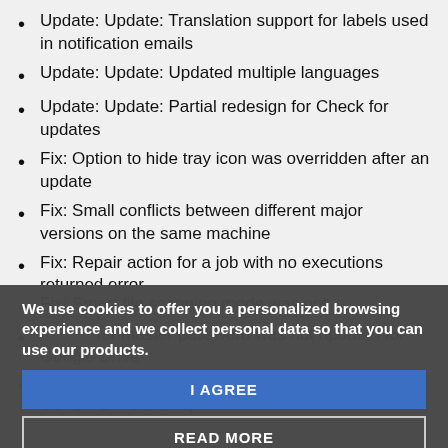Update: Update: Translation support for labels used in notification emails
Update: Update: Updated multiple languages
Update: Update: Partial redesign for Check for updates
Fix: Option to hide tray icon was overridden after an update
Fix: Small conflicts between different major versions on the same machine
Fix: Repair action for a job with no executions returned error
Fix: Smart file scanning mode was not
Fix: ... for master password was not updated for Google Drive
Fix: File count progress was not displayed for Google Drive backups
We use cookies to offer you a personalized browsing experience and we collect personal data so that you can use our products.
I AGREE
READ MORE